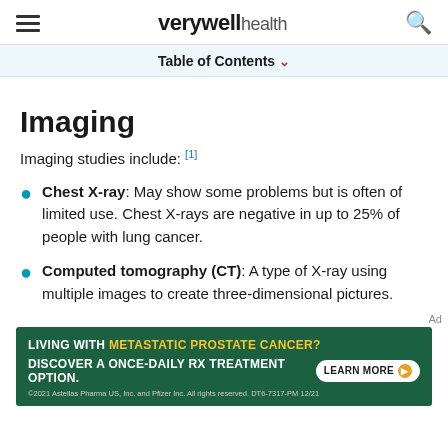verywell health
Table of Contents
Imaging
Imaging studies include: [1]
Chest X-ray: May show some problems but is often of limited use. Chest X-rays are negative in up to 25% of people with lung cancer.
Computed tomography (CT): A type of X-ray using multiple images to create three-dimensional pictures.
[Figure (other): Advertisement banner: Living with Metastatic Prostate Cancer? Discover a once-daily Rx treatment option. Learn more button. 2021 Astellas Pharma US, Inc. and Pfizer Inc. All rights reserved. DT6-7317-PM 12/21]